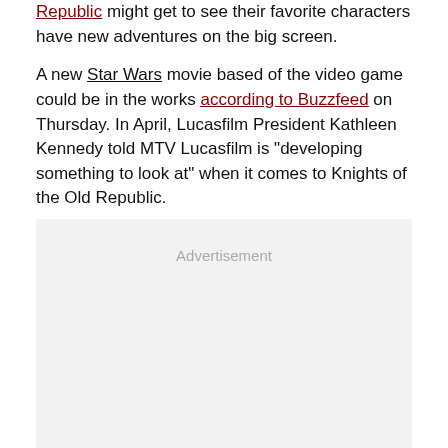Republic might get to see their favorite characters have new adventures on the big screen.
A new Star Wars movie based of the video game could be in the works according to Buzzfeed on Thursday. In April, Lucasfilm President Kathleen Kennedy told MTV Lucasfilm is "developing something to look at" when it comes to Knights of the Old Republic.
[Figure (other): Advertisement placeholder box]